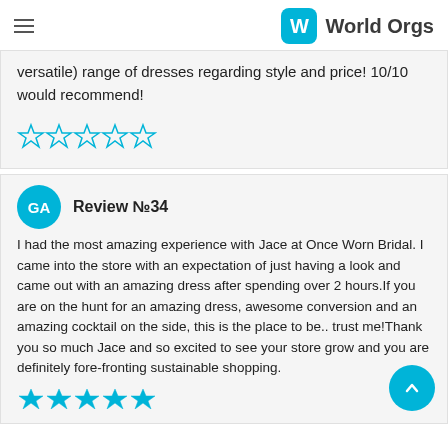World Orgs
versatile) range of dresses regarding style and price! 10/10 would recommend!
[Figure (other): 5 empty star rating icons in cyan/light blue]
Review №34
I had the most amazing experience with Jace at Once Worn Bridal. I came into the store with an expectation of just having a look and came out with an amazing dress after spending over 2 hours.If you are on the hunt for an amazing dress, awesome conversion and an amazing cocktail on the side, this is the place to be.. trust me!Thank you so much Jace and so excited to see your store grow and you are definitely fore-fronting sustainable shopping.
[Figure (other): 5 filled star rating icons in cyan/light blue (partial view at bottom)]